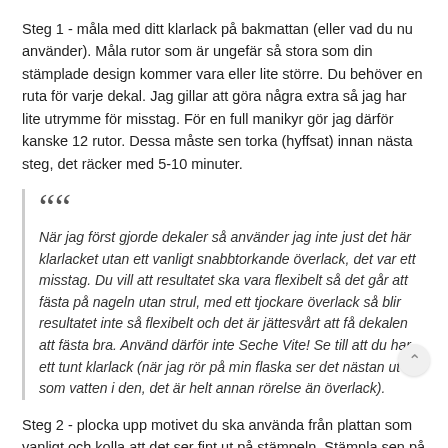Steg 1 - måla med ditt klarlack på bakmattan (eller vad du nu använder). Måla rutor som är ungefär så stora som din stämplade design kommer vara eller lite större. Du behöver en ruta för varje dekal. Jag gillar att göra några extra så jag har lite utrymme för misstag. För en full manikyr gör jag därför kanske 12 rutor. Dessa måste sen torka (hyffsat) innan nästa steg, det räcker med 5-10 minuter.
När jag först gjorde dekaler så använder jag inte just det här klarlacket utan ett vanligt snabbtorkande överlack, det var ett misstag. Du vill att resultatet ska vara flexibelt så det går att fästa på nageln utan strul, med ett tjockare överlack så blir resultatet inte så flexibelt och det är jättesvårt att få dekalen att fästa bra. Använd därför inte Seche Vite! Se till att du har ett tunt klarlack (när jag rör på min flaska ser det nästan ut som vatten i den, det är helt annan rörelse än överlack).
Steg 2 - plocka upp motivet du ska använda från plattan som vanligt och kolla att det ser fint ut på stämpeln. Stämpla sen på en av dina lackrutor. Repetera till du har gjort allihop.